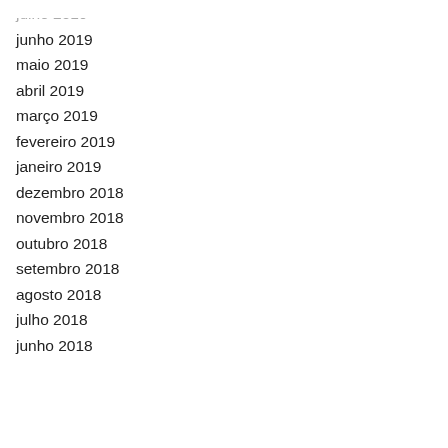julho 2019
junho 2019
maio 2019
abril 2019
março 2019
fevereiro 2019
janeiro 2019
dezembro 2018
novembro 2018
outubro 2018
setembro 2018
agosto 2018
julho 2018
junho 2018